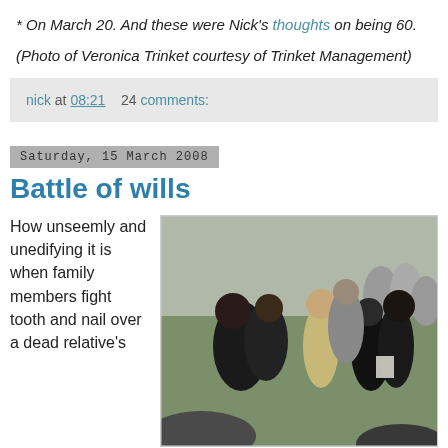* On March 20. And these were Nick's thoughts on being 60.
(Photo of Veronica Trinket courtesy of Trinket Management)
nick at 08:21    24 comments:
Saturday, 15 March 2008
Battle of wills
How unseemly and unedifying it is when family members fight tooth and nail over a dead relative's
[Figure (photo): Photo of people in dark clothing embracing at what appears to be a funeral, outdoors on grass, with cars visible in the foreground.]